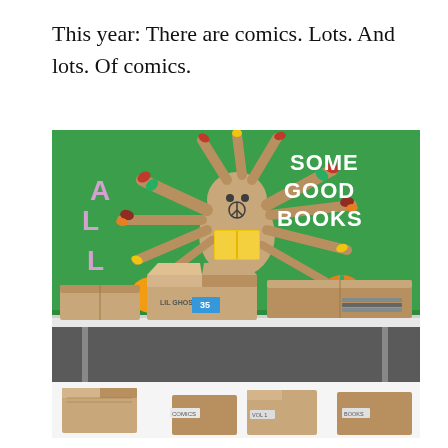This year: There are comics. Lots. And lots. Of comics.
[Figure (photo): Photograph of a table with many cardboard boxes filled with comics, set in front of a green bulletin board decorated with a cartoon tree character holding a book and colorful fall leaves. The bulletin board reads 'ALL SOME GOOD BOOKS'.]